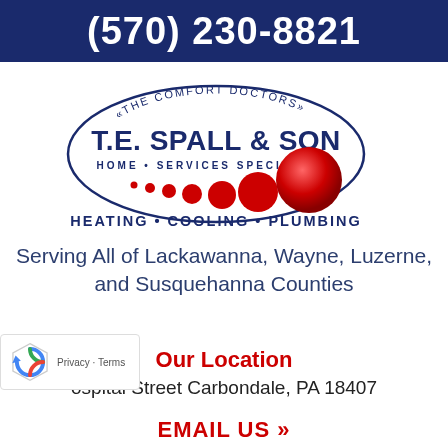(570) 230-8821
[Figure (logo): T.E. Spall & Son logo — oval shape with 'THE COMFORT DOCTORS' tagline, company name 'T.E. SPALL & SON', 'HOME SERVICES SPECIALISTS', red dots trailing to large red sphere, 'HEATING • COOLING • PLUMBING' below]
Serving All of Lackawanna, Wayne, Luzerne, and Susquehanna Counties
Our Location
ospital Street Carbondale, PA 18407
EMAIL US »